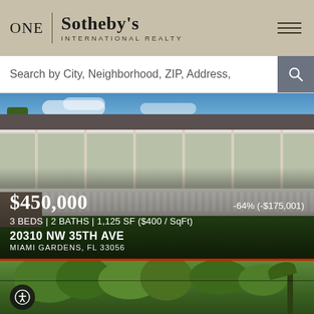[Figure (logo): ONE Sotheby's International Realty logo on tan/khaki background with hamburger menu icon]
Search by City, Neighborhood, ZIP, Address,
[Figure (photo): Single-story home with white fence, green lawn, and blue sky in Miami Gardens, FL]
$450,000
-64% (-$175,001)
3 BEDS | 2 BATHS | 1,125 SF ($400 / SqFt)
20310 NW 35TH AVE
MIAMI GARDENS, FL 33056
[Figure (photo): Partial view of a second property listing with trees visible and a red border, with accessibility icon overlay]